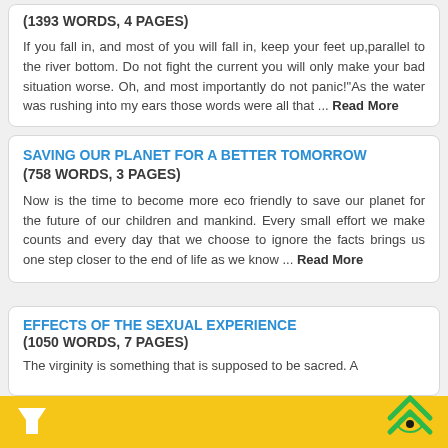(1393 WORDS, 4 PAGES)
If you fall in, and most of you will fall in, keep your feet up, parallel to the river bottom. Do not fight the current you will only make your bad situation worse. Oh, and most importantly do not panic!"As the water was rushing into my ears those words were all that ... Read More
SAVING OUR PLANET FOR A BETTER TOMORROW
(758 WORDS, 3 PAGES)
Now is the time to become more eco friendly to save our planet for the future of our children and mankind. Every small effort we make counts and every day that we choose to ignore the facts brings us one step closer to the end of life as we know ... Read More
EFFECTS OF THE SEXUAL EXPERIENCE
(1050 WORDS, 7 PAGES)
The virginity is something that is supposed to be sacred. A